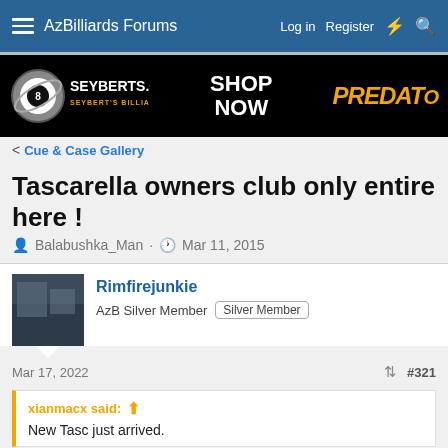AzBilliards Forums  Log in  Register
[Figure (illustration): Seyberts.com billiard supply advertisement banner with Predator brand logo on black background, showing SHOP NOW text]
< Cue & Case Gallery
Tascarella owners club only entire here !
Balabushka_Man · Mar 11, 2015
Rimfirejunkie
AzB Silver Member  Silver Member
Mar 17, 2022  #321
xianmacx said:
New Tasc just arrived.
Wow! That's the kind of Tasc I want.